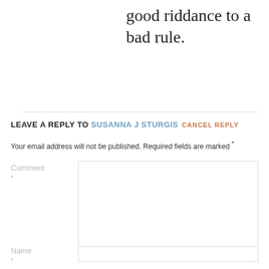good riddance to a bad rule.
LEAVE A REPLY TO SUSANNA J STURGIS CANCEL REPLY
Your email address will not be published. Required fields are marked *
Comment *
Name *